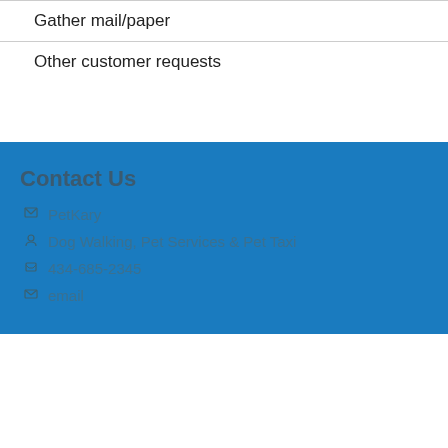Gather mail/paper
Other customer requests
Contact Us
PetKary
Dog Walking, Pet Services & Pet Taxi
434-685-2345
email